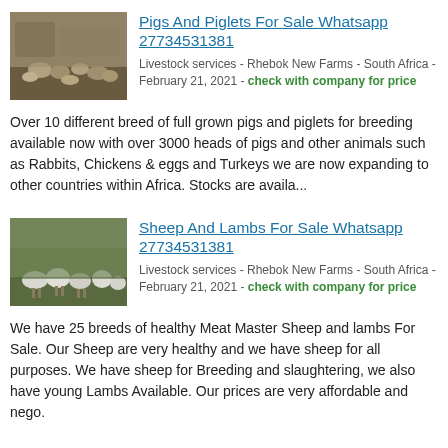[Figure (photo): Photo of pigs and piglets on a farm]
Pigs And Piglets For Sale Whatsapp 27734531381
Livestock services - Rhebok New Farms - South Africa - February 21, 2021 - check with company for price
Over 10 different breed of full grown pigs and piglets for breeding available now with over 3000 heads of pigs and other animals such as Rabbits, Chickens & eggs and Turkeys we are now expanding to other countries within Africa. Stocks are availa...
[Figure (photo): Photo of sheep and lambs in a field]
Sheep And Lambs For Sale Whatsapp 27734531381
Livestock services - Rhebok New Farms - South Africa - February 21, 2021 - check with company for price
We have 25 breeds of healthy Meat Master Sheep and lambs For Sale. Our Sheep are very healthy and we have sheep for all purposes. We have sheep for Breeding and slaughtering, we also have young Lambs Available. Our prices are very affordable and nego.